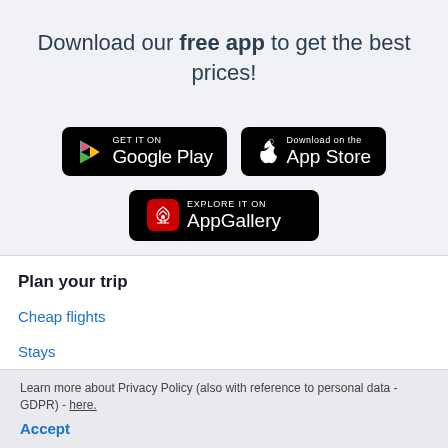Download our free app to get the best prices!
[Figure (logo): Google Play store download badge - black rounded rectangle with Google Play logo and text 'GET IT ON Google Play']
[Figure (logo): Apple App Store download badge - black rounded rectangle with Apple logo and text 'Download on the App Store']
[Figure (logo): Huawei AppGallery badge - black rounded rectangle with Huawei logo and text 'EXPLORE IT ON AppGallery']
Plan your trip
Cheap flights
Stays
Learn more about Privacy Policy (also with reference to personal data - GDPR) - here.
Accept